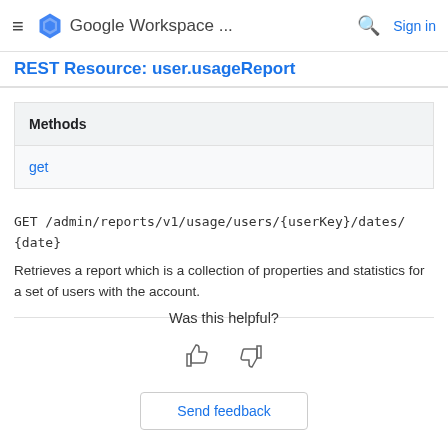Google Workspace ...   Sign in
REST Resource: user.usageReport
| Methods |
| --- |
| get |
GET /admin/reports/v1/usage/users/{userKey}/dates/{date}
Retrieves a report which is a collection of properties and statistics for a set of users with the account.
Was this helpful?
Send feedback